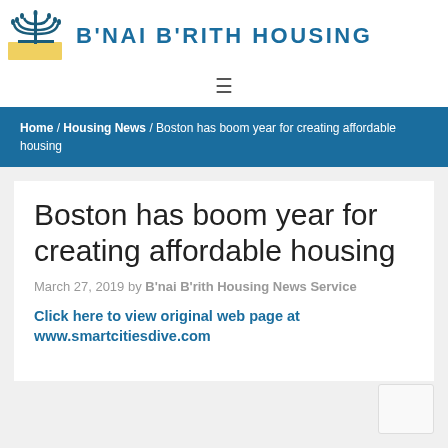[Figure (logo): B'nai B'rith Housing logo with menorah and yellow base graphic]
B'NAI B'RITH HOUSING
≡
Home / Housing News / Boston has boom year for creating affordable housing
Boston has boom year for creating affordable housing
March 27, 2019 by B'nai B'rith Housing News Service
Click here to view original web page at www.smartcitiesdive.com